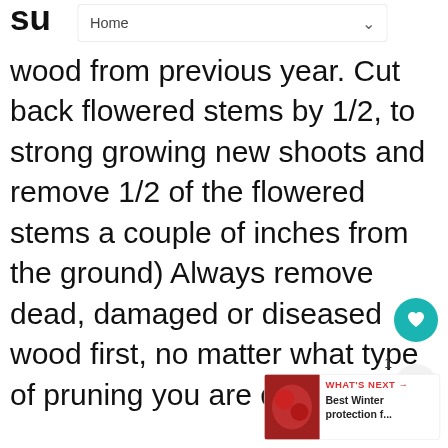Home
wood from previous year. Cut back flowered stems by 1/2, to strong growing new shoots and remove 1/2 of the flowered stems a couple of inches from the ground) Always remove dead, damaged or diseased wood first, no matter what type of pruning you are doing.
Examples: Minimal: Amelanchier, Aronia, Chimonanthus, Clethra, Cornus alternifolia, Daphne, Fothergilla, Hamamelis, Poncirus, Viburnum. Spring: Abelia, Buddleia, Datura Fuchsia, Hibiscus, Hypericum, Perovskia, Spirea douglasii/japonica, Tamarix. Summer after flower: Buddleia alternifolia, Calycanthus, Chaenomeles, Corylus, Cotoneaster, Deutzia, Forsythia, Magnolia x